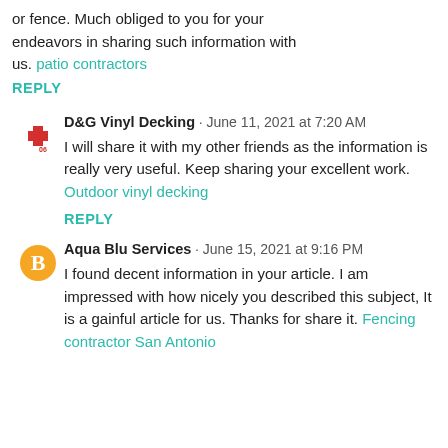or fence. Much obliged to you for your endeavors in sharing such information with us. patio contractors
REPLY
D&G Vinyl Decking · June 11, 2021 at 7:20 AM
I will share it with my other friends as the information is really very useful. Keep sharing your excellent work. Outdoor vinyl decking
REPLY
Aqua Blu Services · June 15, 2021 at 9:16 PM
I found decent information in your article. I am impressed with how nicely you described this subject, It is a gainful article for us. Thanks for share it. Fencing contractor San Antonio